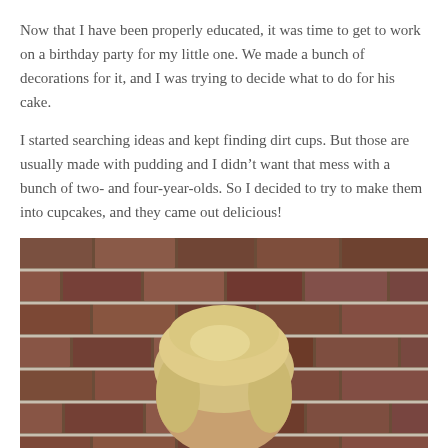Now that I have been properly educated, it was time to get to work on a birthday party for my little one. We made a bunch of decorations for it, and I was trying to decide what to do for his cake.
I started searching ideas and kept finding dirt cups. But those are usually made with pudding and I didn't want that mess with a bunch of two- and four-year-olds. So I decided to try to make them into cupcakes, and they came out delicious!
[Figure (photo): A young child with blonde hair viewed from behind, standing in front of a brick wall. The brick wall is reddish-brown with gray mortar. The child's head is visible in the lower center of the image.]